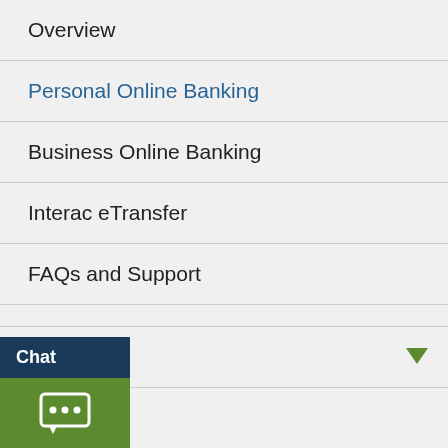Overview
Personal Online Banking
Business Online Banking
Interac eTransfer
FAQs and Support
CRA Direct Deposit
Verified.Me™ Sign-In
Real-Time Alerts
Browser Security Update
…ile
…tact Centre